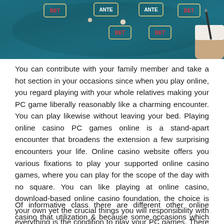[Figure (photo): Overhead view of a casino card table with a teal/green felt surface. Several betting spots labeled BET and ANTE are visible. A person's hand holding a pen or marker is visible at the right edge.]
You can contribute with your family member and take a hot section in your occasions since when you play online, you regard playing with your whole relatives making your PC game liberally reasonably like a charming encounter. You can play likewise without leaving your bed. Playing online casino PC games online is a stand-apart encounter that broadens the extension a few surprising encounters your life. Online casino website offers you various fixations to play your supported online casino games, where you can play for the scope of the day with no square. You can like playing at online casino, download-based online casino foundation, the choice is your own yet the crucial things you will responsibility with everything is the condition to play your PC games. There are loads of propensities of playing online and this is the key explanation that individuals from all walks around life are pulling in the heading of online casino PC games.
Of informative class there are different other online casino that utilization & because some occasions which with some the